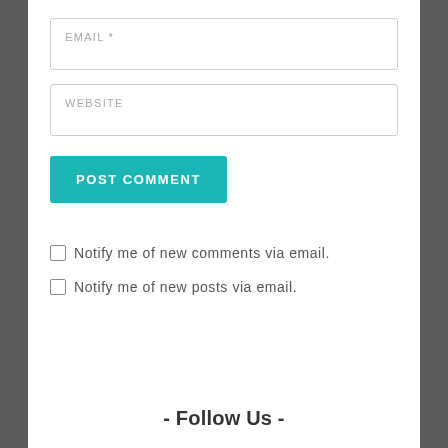EMAIL *
WEBSITE
POST COMMENT
Notify me of new comments via email.
Notify me of new posts via email.
- Follow Us -